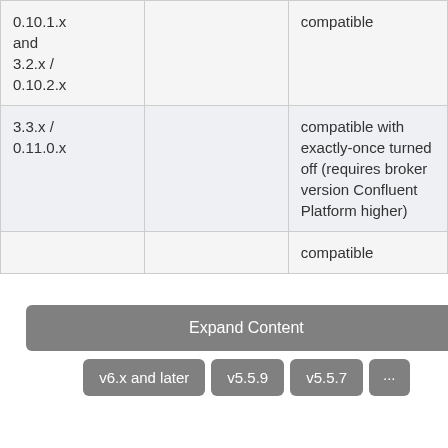|  |  |  |
| --- | --- | --- |
| 0.10.1.x and 3.2.x / 0.10.2.x |  | compatible |
| 3.3.x / 0.11.0.x |  | compatible with exactly-once turned off (requires broker version Confluent Platform higher) |
|  |  | compatible |